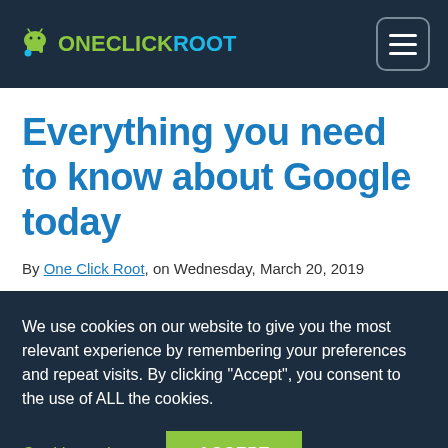OneClickRoot
Everything you need to know about Google today
By One Click Root, on Wednesday, March 20, 2019
We use cookies on our website to give you the most relevant experience by remembering your preferences and repeat visits. By clicking “Accept”, you consent to the use of ALL the cookies.
Cookie settings   ACCEPT